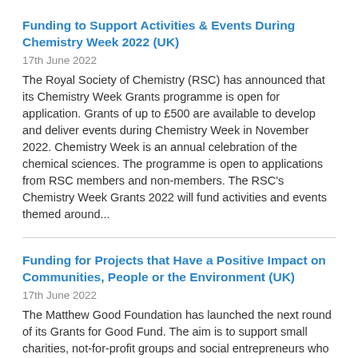Funding to Support Activities & Events During Chemistry Week 2022 (UK)
17th June 2022
The Royal Society of Chemistry (RSC) has announced that its Chemistry Week Grants programme is open for application. Grants of up to £500 are available to develop and deliver events during Chemistry Week in November 2022. Chemistry Week is an annual celebration of the chemical sciences. The programme is open to applications from RSC members and non-members. The RSC's Chemistry Week Grants 2022 will fund activities and events themed around...
Funding for Projects that Have a Positive Impact on Communities, People or the Environment (UK)
17th June 2022
The Matthew Good Foundation has launched the next round of its Grants for Good Fund. The aim is to support small charities, not-for-profit groups and social entrepreneurs who are